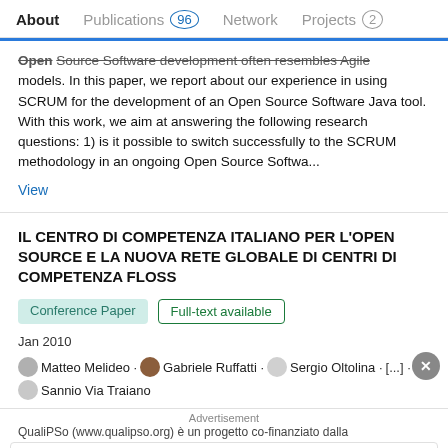About    Publications 96    Network    Projects 2
Open Source Software development often resembles Agile models. In this paper, we report about our experience in using SCRUM for the development of an Open Source Software Java tool. With this work, we aim at answering the following research questions: 1) is it possible to switch successfully to the SCRUM methodology in an ongoing Open Source Softwa...
View
IL CENTRO DI COMPETENZA ITALIANO PER L'OPEN SOURCE E LA NUOVA RETE GLOBALE DI CENTRI DI COMPETENZA FLOSS
Conference Paper    Full-text available
Jan 2010
Matteo Melideo · Gabriele Ruffatti · Sergio Oltolina · [...] · Sannio Via Traiano
Advertisement
QualiPSo (www.qualipso.org) è un progetto co-finanziato dalla
[Figure (infographic): Lidl advertisement banner with play icon, Lidl logo, checkmark, In-store shopping text, and navigation arrow icon]